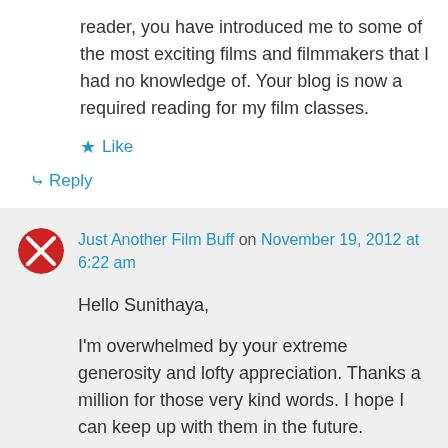reader, you have introduced me to some of the most exciting films and filmmakers that I had no knowledge of. Your blog is now a required reading for my film classes.
★ Like
↳ Reply
Just Another Film Buff on November 19, 2012 at 6:22 am
Hello Sunithaya,
I'm overwhelmed by your extreme generosity and lofty appreciation. Thanks a million for those very kind words. I hope I can keep up with them in the future.